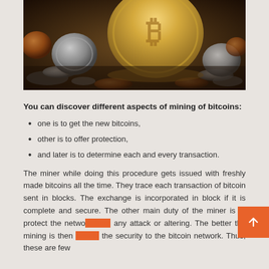[Figure (photo): Close-up photo of Bitcoin gold coin among various other coins]
You can discover different aspects of mining of bitcoins:
one is to get the new bitcoins,
other is to offer protection,
and later is to determine each and every transaction.
The miner while doing this procedure gets issued with freshly made bitcoins all the time. They trace each transaction of bitcoin sent in blocks. The exchange is incorporated in block if it is complete and secure. The other main duty of the miner is to protect the network from any attack or altering. The better the mining is then best is the security to the bitcoin network. Thus, these are few